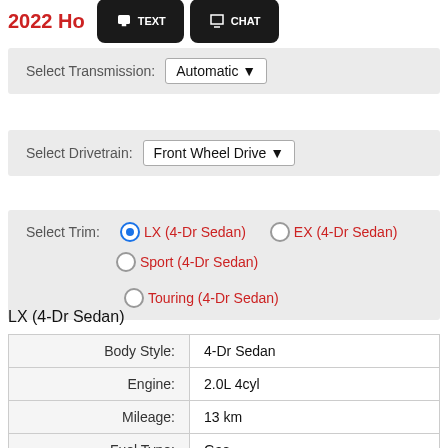2022 Ho
Select Transmission: Automatic
Select Drivetrain: Front Wheel Drive
Select Trim: LX (4-Dr Sedan) EX (4-Dr Sedan) Sport (4-Dr Sedan) Touring (4-Dr Sedan)
LX (4-Dr Sedan)
| Label | Value |
| --- | --- |
| Body Style: | 4-Dr Sedan |
| Engine: | 2.0L 4cyl |
| Mileage: | 13 km |
| Fuel Type: | Gas |
| Transmission: | Automatic |